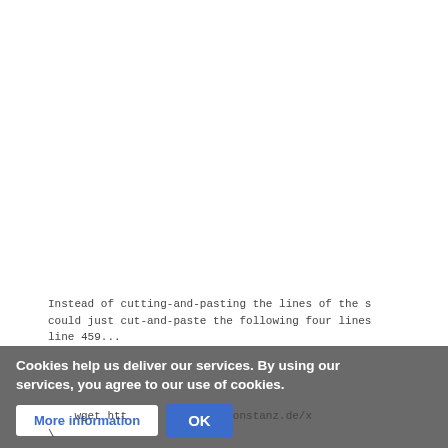Instead of cutting-and-pasting the lines of the s could just cut-and-paste the following four lines line 459...
Cookies help us deliver our services. By using our services, you agree to our use of cookies.
More information
OK
wget htt                onstanz.de/x
\